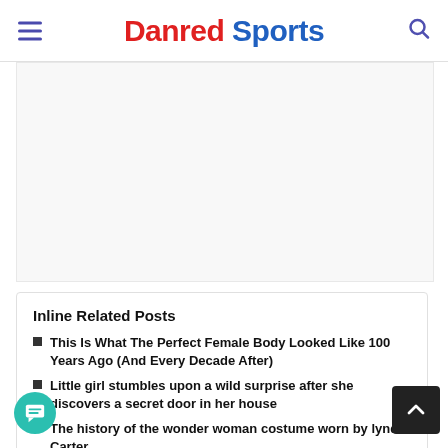Danred Sports
[Figure (other): Advertisement / blank white space area]
Inline Related Posts
This Is What The Perfect Female Body Looked Like 100 Years Ago (And Every Decade After)
Little girl stumbles upon a wild surprise after she discovers a secret door in her house
The history of the wonder woman costume worn by lynda Carter
The Explosion Of The Sixer Tyrese Maxey In His Second Professional Year